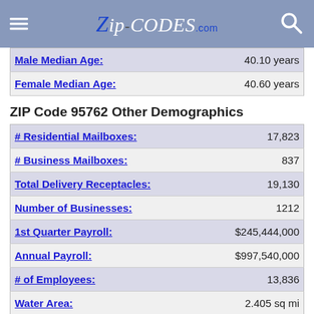ZIP-CODES.com
| Field | Value |
| --- | --- |
| Male Median Age: | 40.10 years |
| Female Median Age: | 40.60 years |
ZIP Code 95762 Other Demographics
| Field | Value |
| --- | --- |
| # Residential Mailboxes: | 17,823 |
| # Business Mailboxes: | 837 |
| Total Delivery Receptacles: | 19,130 |
| Number of Businesses: | 1212 |
| 1st Quarter Payroll: | $245,444,000 |
| Annual Payroll: | $997,540,000 |
| # of Employees: | 13,836 |
| Water Area: | 2.405 sq mi |
| Land Area: | 41.588 sq mi |